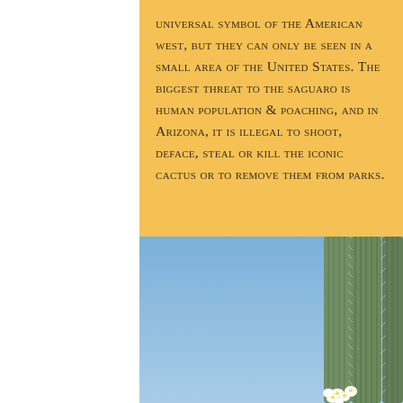universal symbol of the American west, but they can only be seen in a small area of the United States. The biggest threat to the saguaro is human population & poaching, and in Arizona, it is illegal to shoot, deface, steal or kill the iconic cactus or to remove them from parks.
[Figure (photo): Close-up photograph of tall saguaro cactus columns with spines against a clear blue sky, with white saguaro blossoms visible at the bottom right.]